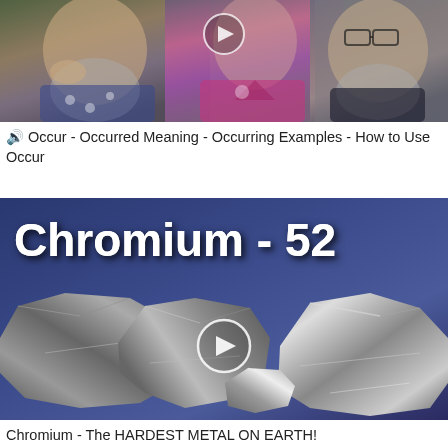[Figure (screenshot): Video thumbnail showing three people: an older bearded man on the left, a woman in pink/magenta top in the center, and an older bearded man with glasses on the right. A play button overlay is visible at the top.]
🔊 Occur - Occurred Meaning - Occurring Examples - How to Use Occur
[Figure (screenshot): Video thumbnail with dark blue background showing large white bold text 'Chromium - 52' and metallic chromium rock samples in the foreground with a play button overlay in the center.]
Chromium - The HARDEST METAL ON EARTH!